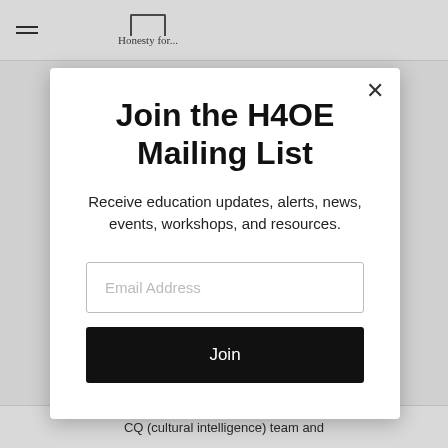Honesty for...
Join the H4OE Mailing List
Receive education updates, alerts, news, events, workshops, and resources.
Email Address
Join
CQ (cultural intelligence) team and